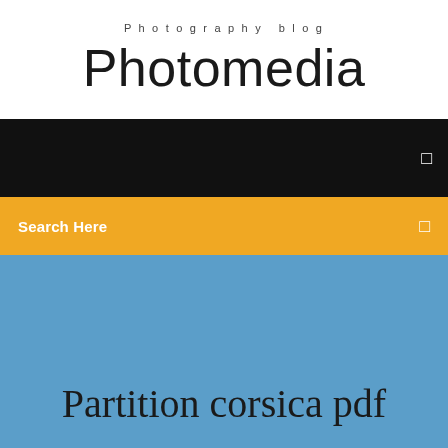Photography blog
Photomedia
[Figure (screenshot): Black navigation bar with a small square icon on the right]
Search Here
Partition corsica pdf